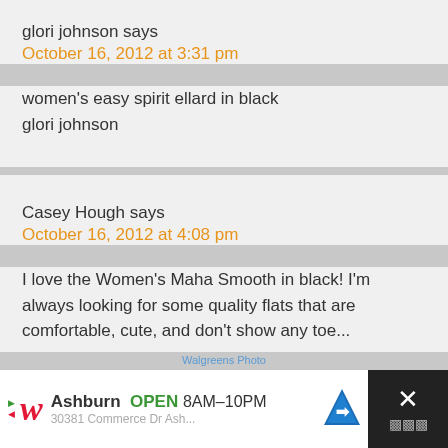glori johnson says
October 16, 2012 at 3:31 pm
women's easy spirit ellard in black
glori johnson
Casey Hough says
October 16, 2012 at 4:08 pm
I love the Women's Maha Smooth in black! I'm always looking for some quality flats that are comfortable, cute, and don't show any toe...
[Figure (screenshot): Walgreens advertisement bar at bottom: Walgreens logo, Ashburn OPEN 8AM-10PM with navigation icon, close button with X]